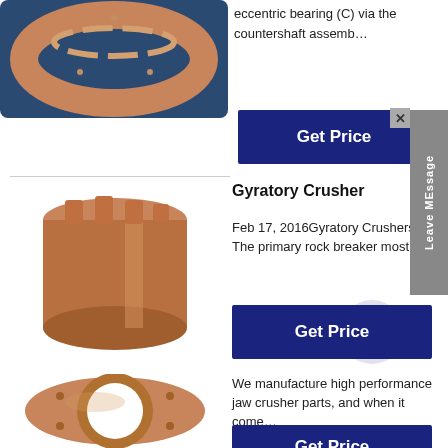eccentric bearing (C) via the countershaft assemb…
[Figure (photo): Bronze/copper colored ring-shaped bearing component on dark blue background]
[Figure (other): Get Price button (dark navy blue)]
Gyratory Crusher
Feb 17, 2016Gyratory Crushers. The primary rock breaker most…
[Figure (photo): Cylindrical bronze/copper crusher bushing component]
[Figure (other): Get Price button (dark navy blue)]
We manufacture high performance jaw crusher parts, and when it come…
[Figure (photo): Round bronze/copper flange/thrust plate with central hole and bolt holes]
[Figure (other): Get Price button (dark navy blue)]